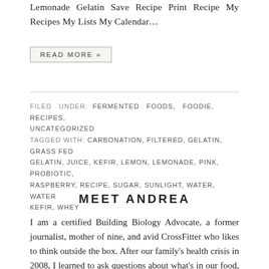Lemonade Gelatin Save Recipe Print Recipe My Recipes My Lists My Calendar…
READ MORE »
FILED UNDER: FERMENTED FOODS, FOODIE, RECIPES, UNCATEGORIZED
TAGGED WITH: CARBONATION, FILTERED, GELATIN, GRASS FED GELATIN, JUICE, KEFIR, LEMON, LEMONADE, PINK, PROBIOTIC, RASPBERRY, RECIPE, SUGAR, SUNLIGHT, WATER, WATER KEFIR, WHEY
MEET ANDREA
I am a certified Building Biology Advocate, a former journalist, mother of nine, and avid CrossFitter who likes to think outside the box. After our family's health crisis in 2008, I learned to ask questions about what's in our food, our water, and our air. I hope to empower you as you seek to live safely in a complex world. Thankfully, small steps lead to big